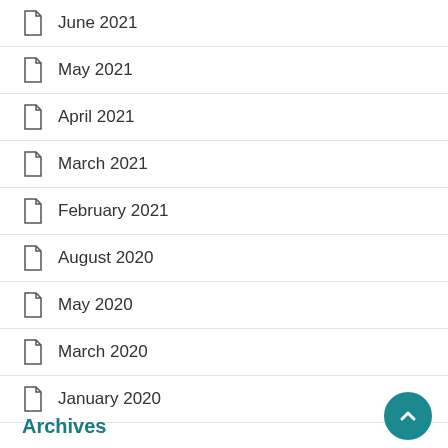June 2021
May 2021
April 2021
March 2021
February 2021
August 2020
May 2020
March 2020
January 2020
Archives